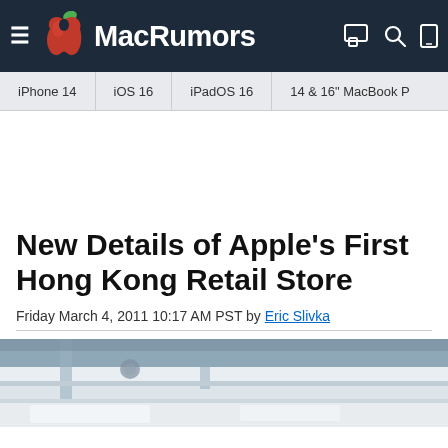MacRumors
iPhone 14 | iOS 16 | iPadOS 16 | 14 & 16" MacBook P
New Details of Apple's First Hong Kong Retail Store
Friday March 4, 2011 10:17 AM PST by Eric Slivka
[Figure (photo): Photo of Apple store interior showing architectural details with white surfaces and metal structural elements]